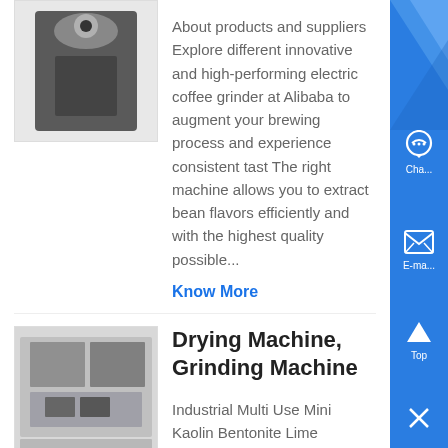[Figure (photo): Partial image of a product (cut off at top), dark/black object]
About products and suppliers Explore different innovative and high-performing electric coffee grinder at Alibaba to augment your brewing process and experience consistent tast The right machine allows you to extract bean flavors efficiently and with the highest quality possible...
Know More
[Figure (photo): Industrial machine photo - Drying Machine / Grinding Machine]
Drying Machine, Grinding Machine
Industrial Multi Use Mini Kaolin Bentonite Lime Limestone Ore Stone HGM Raymond Grinding Roller Mill Mills Grinder Price 28,15100 - 29,06900 / Set 10 Sets Min Order...
Know More
[Figure (photo): Partial image of a lapping machine product at bottom of page]
What is a Lapping Machine